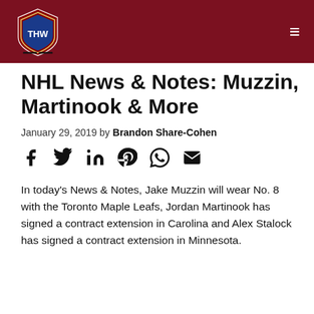THW Hockey Writers
NHL News & Notes: Muzzin, Martinook & More
January 29, 2019 by Brandon Share-Cohen
[Figure (infographic): Social share icons: Facebook, Twitter, LinkedIn, Pinterest, WhatsApp, Email]
In today's News & Notes, Jake Muzzin will wear No. 8 with the Toronto Maple Leafs, Jordan Martinook has signed a contract extension in Carolina and Alex Stalock has signed a contract extension in Minnesota.